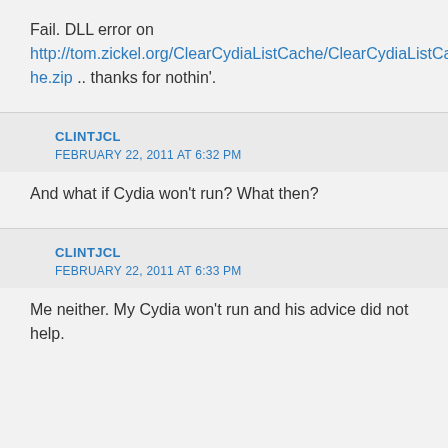Fail. DLL error on http://tom.zickel.org/ClearCydiaListCache/ClearCydiaListCache.zip .. thanks for nothin'.
CLINTJCL
FEBRUARY 22, 2011 AT 6:32 PM
And what if Cydia won't run? What then?
CLINTJCL
FEBRUARY 22, 2011 AT 6:33 PM
Me neither. My Cydia won't run and his advice did not help.